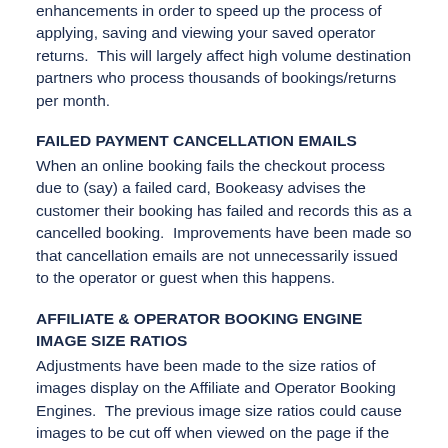enhancements in order to speed up the process of applying, saving and viewing your saved operator returns.  This will largely affect high volume destination partners who process thousands of bookings/returns per month.
FAILED PAYMENT CANCELLATION EMAILS
When an online booking fails the checkout process due to (say) a failed card, Bookeasy advises the customer their booking has failed and records this as a cancelled booking.  Improvements have been made so that cancellation emails are not unnecessarily issued to the operator or guest when this happens.
AFFILIATE & OPERATOR BOOKING ENGINE IMAGE SIZE RATIOS
Adjustments have been made to the size ratios of images display on the Affiliate and Operator Booking Engines.  The previous image size ratios could cause images to be cut off when viewed on the page if the image had been resized